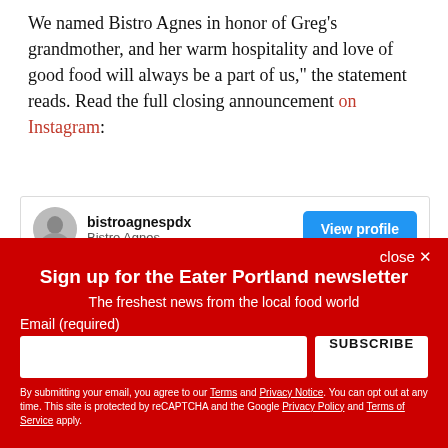We named Bistro Agnes in honor of Greg's grandmother, and her warm hospitality and love of good food will always be a part of us," the statement reads. Read the full closing announcement on Instagram:
[Figure (screenshot): Instagram embed card showing bistroagnespdx / Bistro Agnes profile with a View profile button and a dark navy image bar below]
close ✕
Sign up for the Eater Portland newsletter
The freshest news from the local food world
Email (required)
SUBSCRIBE
By submitting your email, you agree to our Terms and Privacy Notice. You can opt out at any time. This site is protected by reCAPTCHA and the Google Privacy Policy and Terms of Service apply.